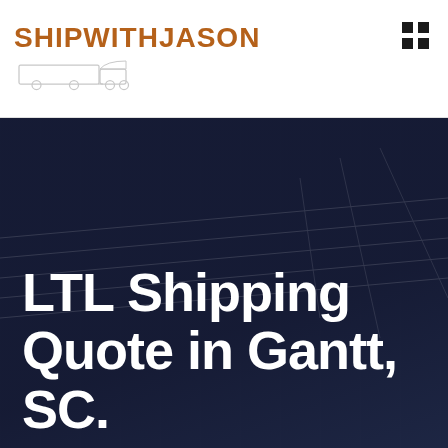[Figure (logo): ShipWithJason logo with orange bold text and faint truck silhouette below]
[Figure (other): Grid/menu icon (2x2 squares) in top right corner]
[Figure (photo): Dark navy hero background image with faint truck/trailer silhouette]
LTL Shipping Quote in Gantt, SC.